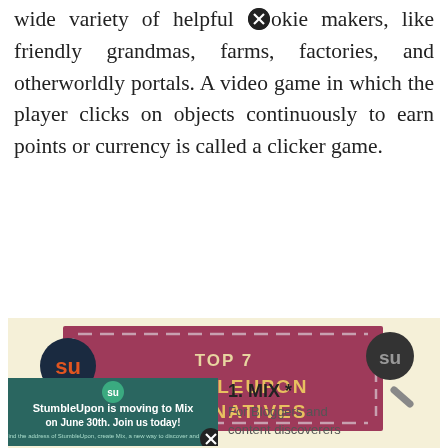wide variety of helpful cookie makers, like friendly grandmas, farms, factories, and otherworldly portals. A video game in which the player clicks on objects continuously to earn points or currency is called a clicker game.
[Figure (infographic): Infographic banner on a cream/beige background showing two StumbleUpon logos (magnifying glass with 'su' letters) on left (colored, orange/red) and right (grayscale). Center shows a dark pink/maroon rectangle with dashed border containing text: 'TOP 7 STUMBLEUPON ALTERNATIVES'. Below is a partial screenshot of StumbleUpon moving to Mix announcement, with text '1. MIX *' and 'For Bloggers and content discoverers'.]